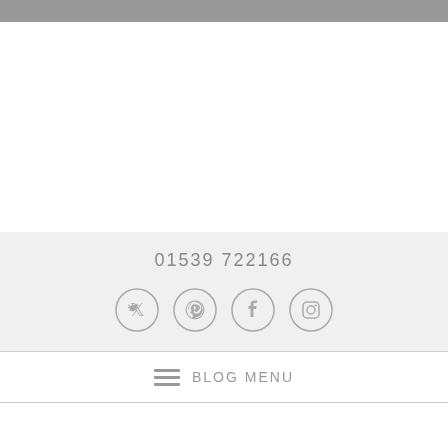01539 722166
[Figure (illustration): Four social media icons in circles: Twitter bird, Pinterest P, Facebook f, Instagram camera]
≡ BLOG MENU